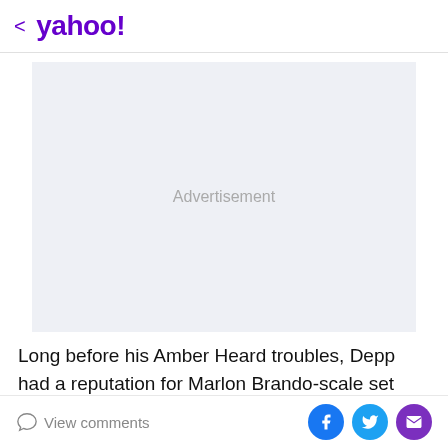< yahoo!
[Figure (other): Advertisement placeholder box with light gray/blue background and centered 'Advertisement' label]
Long before his Amber Heard troubles, Depp had a reputation for Marlon Brando-scale set behavior, from lateness to not showing up to working high. His former
View comments | Facebook share | Twitter share | Email share